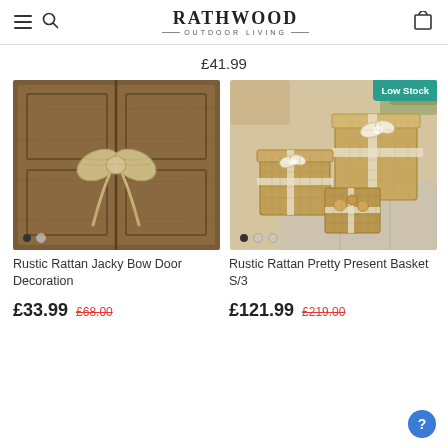RATHWOOD OUTDOOR LIVING
£41.99
[Figure (photo): Rustic rattan bow decoration on a wooden door]
[Figure (photo): Rustic rattan basket set (S/3) resembling gift boxes with ribbon, Low Stock badge]
Rustic Rattan Jacky Bow Door Decoration
Rustic Rattan Pretty Present Basket S/3
£33.99  £68.00
£121.99  £219.00